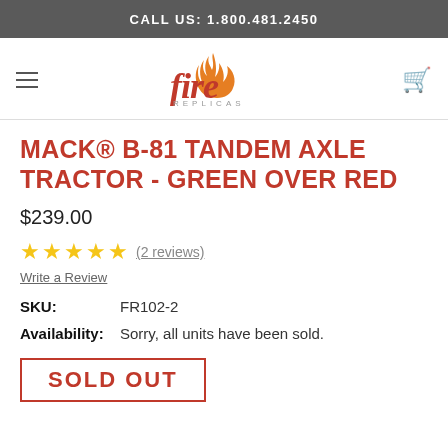CALL US: 1.800.481.2450
[Figure (logo): Fire Replicas logo with stylized flame above the letter i in 'fire', and 'REPLICAS' in small caps below]
MACK® B-81 TANDEM AXLE TRACTOR - GREEN OVER RED
$239.00
★★★★★ (2 reviews)
Write a Review
SKU: FR102-2
Availability: Sorry, all units have been sold.
SOLD OUT